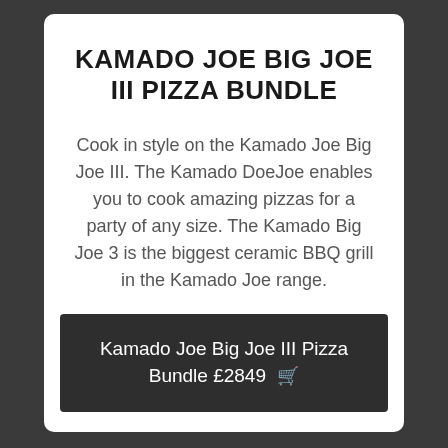KAMADO JOE BIG JOE III PIZZA BUNDLE
Cook in style on the Kamado Joe Big Joe III. The Kamado DoeJoe enables you to cook amazing pizzas for a party of any size. The Kamado Big Joe 3 is the biggest ceramic BBQ grill in the Kamado Joe range.
Kamado Joe Big Joe III Pizza Bundle £2849 🛒